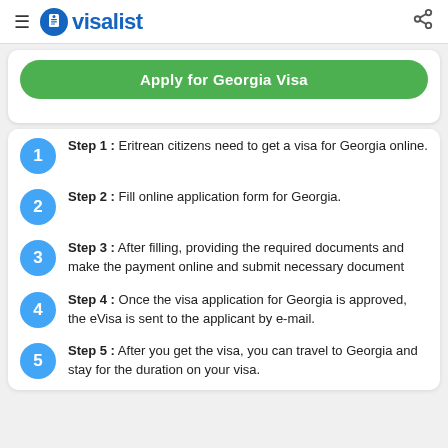visalist
Apply for Georgia Visa
Step 1 : Eritrean citizens need to get a visa for Georgia online.
Step 2 : Fill online application form for Georgia.
Step 3 : After filling, providing the required documents and make the payment online and submit necessary document
Step 4 : Once the visa application for Georgia is approved, the eVisa is sent to the applicant by e-mail.
Step 5 : After you get the visa, you can travel to Georgia and stay for the duration on your visa.